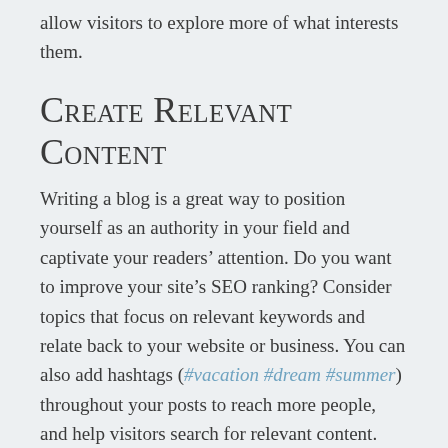allow visitors to explore more of what interests them.
Create Relevant Content
Writing a blog is a great way to position yourself as an authority in your field and captivate your readers’ attention. Do you want to improve your site’s SEO ranking? Consider topics that focus on relevant keywords and relate back to your website or business. You can also add hashtags (#vacation #dream #summer) throughout your posts to reach more people, and help visitors search for relevant content.
Blogging gives your site a voice, so let